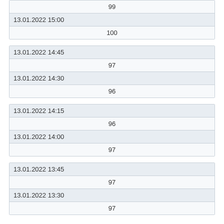| 99 |
| 13.01.2022 15:00 |
| 100 |
| 13.01.2022 14:45 |
| 97 |
| 13.01.2022 14:30 |
| 96 |
| 13.01.2022 14:15 |
| 96 |
| 13.01.2022 14:00 |
| 97 |
| 13.01.2022 13:45 |
| 97 |
| 13.01.2022 13:30 |
| 97 |